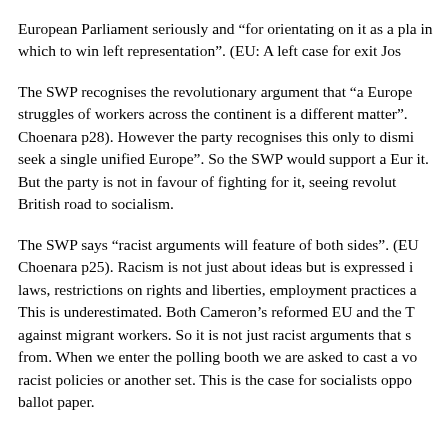European Parliament seriously and “for orientating on it as a place in which to win left representation”. (EU: A left case for exit Jos
The SWP recognises the revolutionary argument that “a Europe… struggles of workers across the continent is a different matter”. (Choenara p28). However the party recognises this only to dismiss… seek a single unified Europe”. So the SWP would support a Eur… it. But the party is not in favour of fighting for it, seeing revolut… British road to socialism.
The SWP says “racist arguments will feature of both sides”. (EU… Choenara p25). Racism is not just about ideas but is expressed i… laws, restrictions on rights and liberties, employment practices a… This is underestimated. Both Cameron’s reformed EU and the T… against migrant workers. So it is not just racist arguments that s… from. When we enter the polling booth we are asked to cast a vo… racist policies or another set. This is the case for socialists oppo… ballot paper.